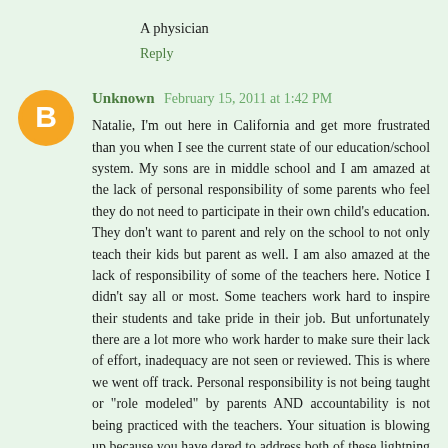A physician
Reply
Unknown February 15, 2011 at 1:42 PM
Natalie, I'm out here in California and get more frustrated than you when I see the current state of our education/school system. My sons are in middle school and I am amazed at the lack of personal responsibility of some parents who feel they do not need to participate in their own child's education. They don't want to parent and rely on the school to not only teach their kids but parent as well. I am also amazed at the lack of responsibility of some of the teachers here. Notice I didn't say all or most. Some teachers work hard to inspire their students and take pride in their job. But unfortunately there are a lot more who work harder to make sure their lack of effort, inadequacy are not seen or reviewed. This is where we went off track. Personal responsibility is not being taught or "role modeled" by parents AND accountability is not being practiced with the teachers. Your situation is blowing up because you have dared to address both of these lightning rods. Just know there are millions of people